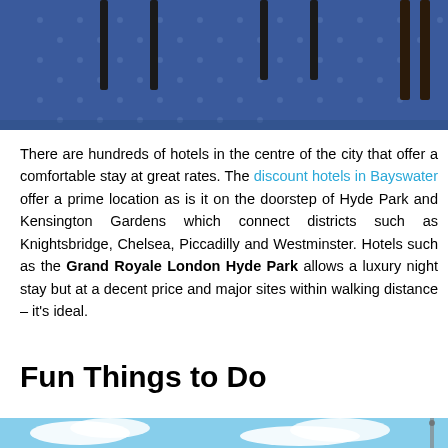[Figure (photo): Photo of a hotel interior showing blue patterned carpet and dark furniture legs/chairs]
There are hundreds of hotels in the centre of the city that offer a comfortable stay at great rates. The discount hotels in Bayswater offer a prime location as is it on the doorstep of Hyde Park and Kensington Gardens which connect districts such as Knightsbridge, Chelsea, Piccadilly and Westminster. Hotels such as the Grand Royale London Hyde Park allows a luxury night stay but at a decent price and major sites within walking distance – it's ideal.
Fun Things to Do
[Figure (photo): Photo of a blue sky with white clouds, partial view of a structure or monument]